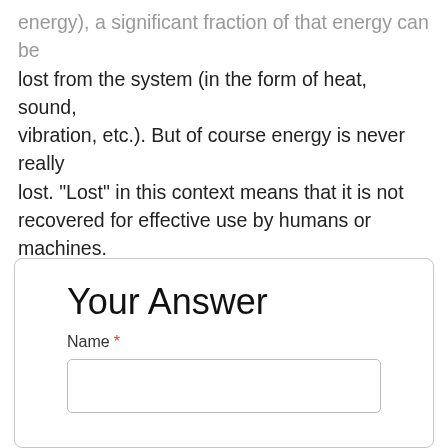energy), a significant fraction of that energy can be lost from the system (in the form of heat, sound, vibration, etc.). But of course energy is never really lost. "Lost" in this context means that it is not recovered for effective use by humans or machines. Associated Activities Energy Forms and States Demonstrations - Demonstrations explain the concepts of energy forms (sound, chemical, radiant ...
Your Answer
Name *